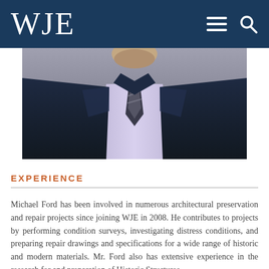WJE
[Figure (photo): Professional headshot of Michael Ford, a man in a dark navy suit with a lavender dress shirt and a striped tie, photographed from chin/neck down to chest level against a neutral gray background.]
EXPERIENCE
Michael Ford has been involved in numerous architectural preservation and repair projects since joining WJE in 2008. He contributes to projects by performing condition surveys, investigating distress conditions, and preparing repair drawings and specifications for a wide range of historic and modern materials. Mr. Ford also has extensive experience in the research for and preparation of Historic Structures